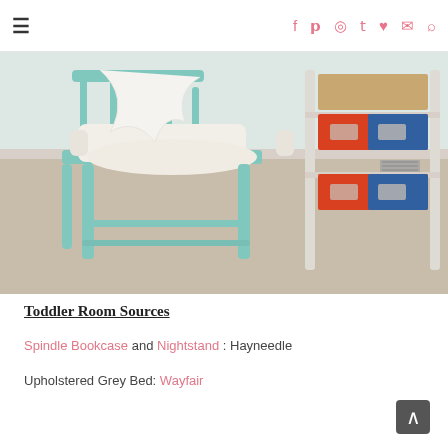Navigation and social icons header
[Figure (photo): A mint/teal painted wooden spindle chair with a white cushion/booster seat, positioned in front of a white shelving unit with colorful storage boxes (tan, red, blue patterned). Carpeted floor, light wall background.]
Toddler Room Sources
Spindle Bookcase and Nightstand : Hayneedle
Upholstered Grey Bed: Wayfair